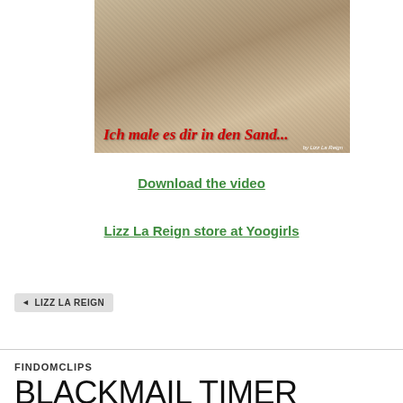[Figure (photo): Beach sand photo with text overlay reading 'Ich male es dir in den Sand...' in red italic font, with credit 'by Lizz La Reign' in white]
Download the video
Lizz La Reign store at Yoogirls
LIZZ LA REIGN
FINDOMCLIPS
BLACKMAIL TIMER GAME 17